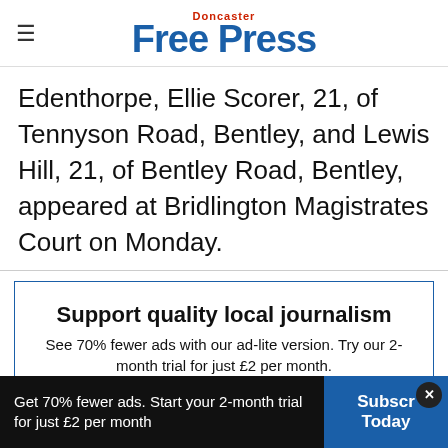Doncaster Free Press
Edenthorpe, Ellie Scorer, 21, of Tennyson Road, Bentley, and Lewis Hill, 21, of Bentley Road, Bentley, appeared at Bridlington Magistrates Court on Monday.
Support quality local journalism
See 70% fewer ads with our ad-lite version. Try our 2-month trial for just £2 per month.
Subscribe today
Get 70% fewer ads. Start your 2-month trial for just £2 per month  Subscribe Today